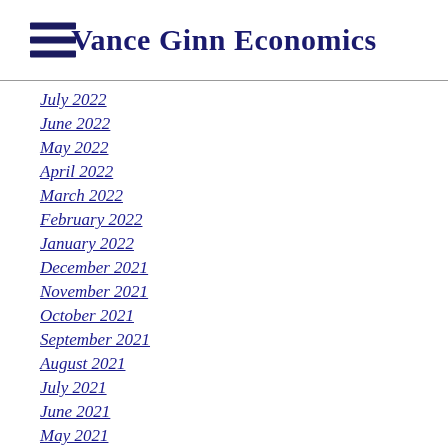Vance Ginn Economics
July 2022
June 2022
May 2022
April 2022
March 2022
February 2022
January 2022
December 2021
November 2021
October 2021
September 2021
August 2021
July 2021
June 2021
May 2021
April 2021
March 2021
February 2021
January 2021